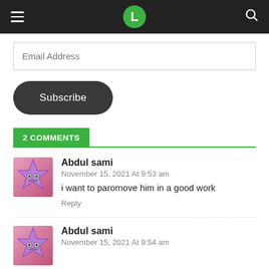L
Email Address
Subscribe
2 COMMENTS
Abdul sami
November 15, 2021 At 9:53 am
i want to paromove him in a good work
Reply
Abdul sami
November 15, 2021 At 9:54 am